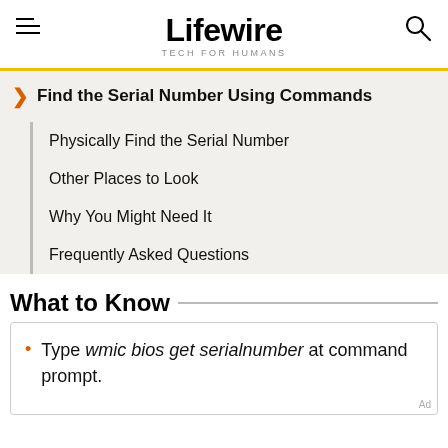Lifewire TECH FOR HUMANS
Find the Serial Number Using Commands
Physically Find the Serial Number
Other Places to Look
Why You Might Need It
Frequently Asked Questions
What to Know
Type wmic bios get serialnumber at command prompt.